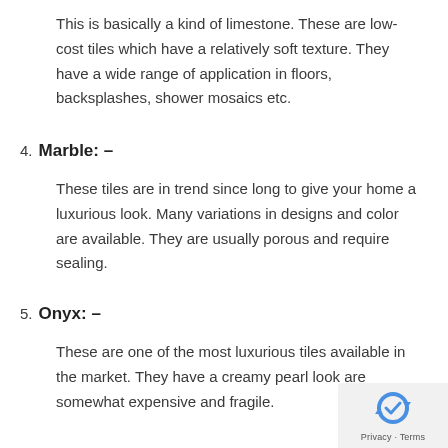This is basically a kind of limestone. These are low-cost tiles which have a relatively soft texture. They have a wide range of application in floors, backsplashes, shower mosaics etc.
4. Marble: –
These tiles are in trend since long to give your home a luxurious look. Many variations in designs and color are available. They are usually porous and require sealing.
5. Onyx: –
These are one of the most luxurious tiles available in the market. They have a creamy pearl look are somewhat expensive and fragile.